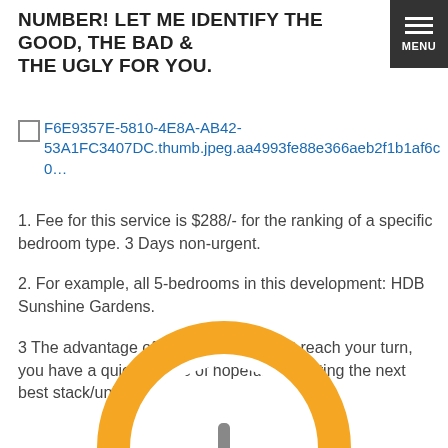NUMBER! LET ME IDENTIFY THE GOOD, THE BAD & THE UGLY FOR YOU.
[Figure (screenshot): Menu button with three horizontal lines and MENU text on dark background, top right corner]
F6E9357E-5810-4E8A-AB42-53A1FC3407DC.thumb.jpeg.aa4993fe88e366aeb2f1b1af6c0...
1. Fee for this service is $288/- for the ranking of a specific bedroom type. 3 Days non-urgent.
2. For example, all 5-bedrooms in this development: HDB Sunshine Gardens.
3 The advantage of this is by the time it reach your turn, you have a quick means of hopefully selecting the next best stack/unit.
[Figure (illustration): Partial orange circular gauge/speedometer icon at bottom center of page]